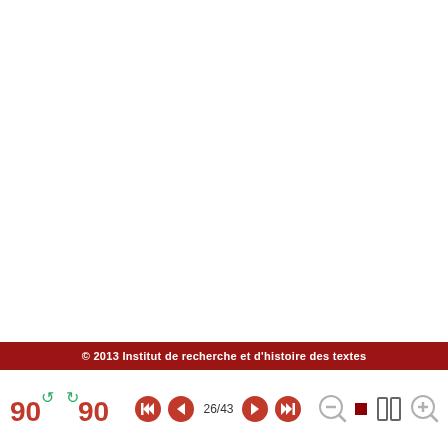© 2013 Institut de recherche et d'histoire des textes
[Figure (screenshot): PDF viewer toolbar with rotation buttons (90° CCW and CW), navigation buttons (first, previous, page 26/43, next, last), and zoom controls (zoom out, fit, panel view, zoom in)]